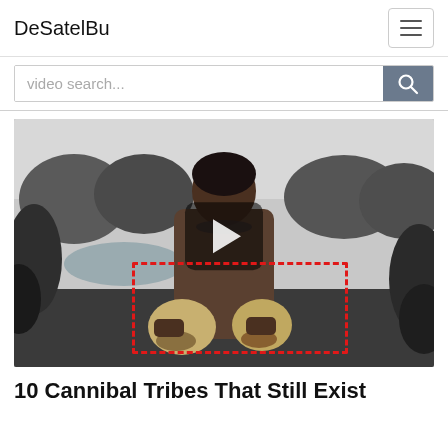DeSatelBu
video search...
[Figure (screenshot): Black and white photograph of a man standing outdoors near a river holding two skulls, with tropical vegetation in the background. A video play button overlay is centered on the image. A red dashed rectangle outlines the lower portion of the image near the skulls.]
10 Cannibal Tribes That Still Exist